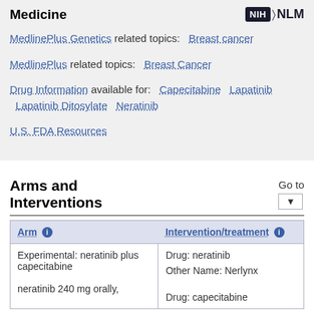Medicine
MedlinePlus Genetics related topics: Breast cancer
MedlinePlus related topics: Breast Cancer
Drug Information available for: Capecitabine  Lapatinib  Lapatinib Ditosylate  Neratinib
U.S. FDA Resources
Arms and Interventions
| Arm | Intervention/treatment |
| --- | --- |
| Experimental: neratinib plus capecitabine

neratinib 240 mg orally, | Drug: neratinib

Other Name: Nerlynx

Drug: capecitabine |